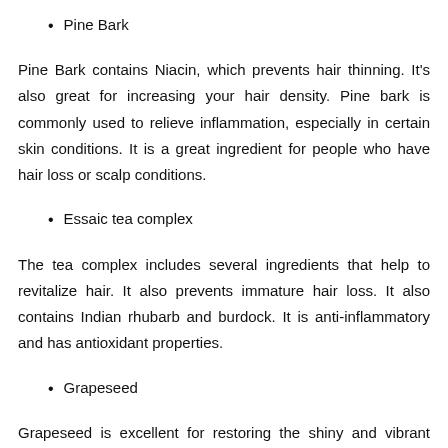Pine Bark
Pine Bark contains Niacin, which prevents hair thinning. It's also great for increasing your hair density. Pine bark is commonly used to relieve inflammation, especially in certain skin conditions. It is a great ingredient for people who have hair loss or scalp conditions.
Essaic tea complex
The tea complex includes several ingredients that help to revitalize hair. It also prevents immature hair loss. It also contains Indian rhubarb and burdock. It is anti-inflammatory and has antioxidant properties.
Grapeseed
Grapeseed is excellent for restoring the shiny and vibrant appearance of your hair. It helps produce more sebum to moisturize and strengthen your hair. It promotes collagen production in the body,